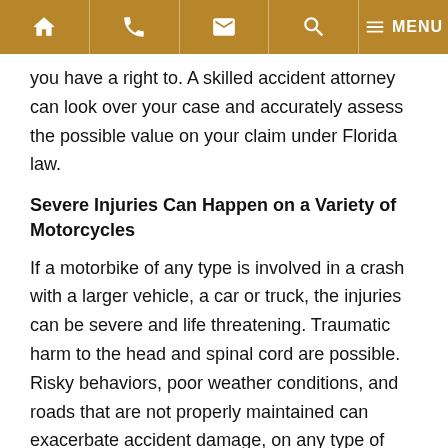Navigation bar with home, phone, email, search, and menu icons
you have a right to.  A skilled accident attorney can look over your case and accurately assess the possible value on your claim under Florida law.
Severe Injuries Can Happen on a Variety of Motorcycles
If a motorbike of any type is involved in a crash with a larger vehicle, a car or truck, the injuries can be severe and life threatening. Traumatic harm to the head and spinal cord are possible. Risky behaviors, poor weather conditions, and roads that are not properly maintained can exacerbate accident damage, on any type of motorcycle.